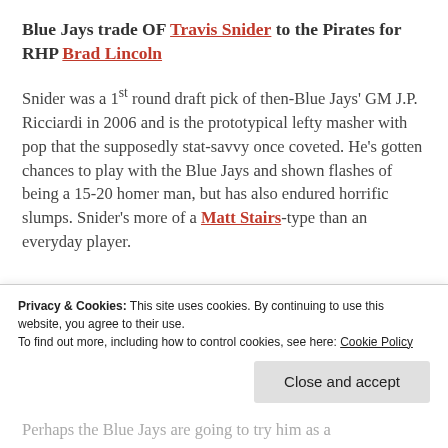Blue Jays trade OF Travis Snider to the Pirates for RHP Brad Lincoln
Snider was a 1st round draft pick of then-Blue Jays' GM J.P. Ricciardi in 2006 and is the prototypical lefty masher with pop that the supposedly stat-savvy once coveted. He's gotten chances to play with the Blue Jays and shown flashes of being a 15-20 homer man, but has also endured horrific slumps. Snider's more of a Matt Stairs-type than an everyday player.
Privacy & Cookies: This site uses cookies. By continuing to use this website, you agree to their use. To find out more, including how to control cookies, see here: Cookie Policy
Perhaps the Blue Jays are going to try him as a